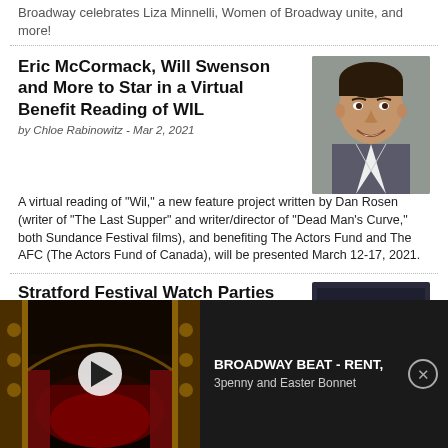Broadway celebrates Liza Minnelli, Women of Broadway unite, and more!
Eric McCormack, Will Swenson and More to Star in a Virtual Benefit Reading of WIL
by Chloe Rabinowitz - Mar 2, 2021
A virtual reading of “Wil,” a new feature project written by Dan Rosen (writer of “The Last Supper” and writer/director of “Dead Man's Curve,” both Sundance Festival films), and benefiting The Actors Fund and The AFC (The Actors Fund of Canada), will be presented March 12-17, 2021.
[Figure (photo): Headshot photo of a smiling man with dark hair, wearing a suit jacket against a blurred background.]
Stratford Festival Watch Parties Resume This Thursday With THE
[Figure (screenshot): Dark banner image with text STRATFEST and red text ONLINE in stylized letters.]
[Figure (photo): Theater interior at night with stage lighting and red curtains, play button overlay indicating a video thumbnail.]
BROADWAY BEAT - RENT, 3penny and Easter Bonnet